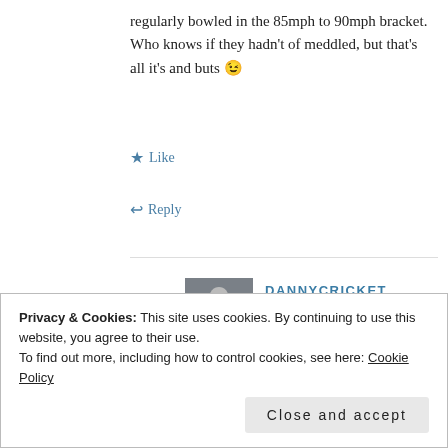regularly bowled in the 85mph to 90mph bracket. Who knows if they hadn't of meddled, but that's all it's and buts 😉
★ Like
↩ Reply
DANNYCRICKET
Sep 11, 2018 / 7:35 pm
Well most truly fast bowlers aren't
Privacy & Cookies: This site uses cookies. By continuing to use this website, you agree to their use.
To find out more, including how to control cookies, see here: Cookie Policy
Close and accept